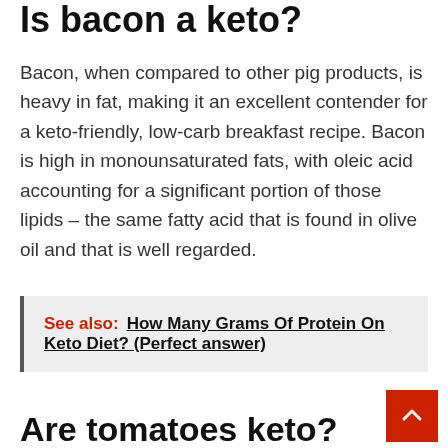Is bacon a keto?
Bacon, when compared to other pig products, is heavy in fat, making it an excellent contender for a keto-friendly, low-carb breakfast recipe. Bacon is high in monounsaturated fats, with oleic acid accounting for a significant portion of those lipids – the same fatty acid that is found in olive oil and that is well regarded.
See also:  How Many Grams Of Protein On Keto Diet? (Perfect answer)
Are tomatoes keto?